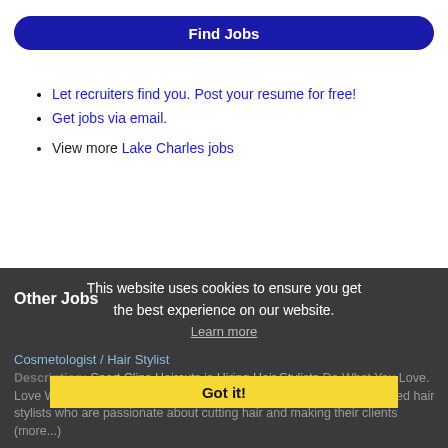Find Jobs
Let recruiters find you. Post your resume for free!
Get jobs via email.
View more Lake Charles jobs
This website uses cookies to ensure you get the best experience on our website.
Learn more
Other Jobs
Got it!
Cosmetologist / Hair Stylist
Description: Sport Clips Haircuts is Hiring Hair Stylists Do What You Love. Love What You Do.JOB DESCRIPTIONOur salon is looking for talented hair stylists who are passionate about cutting hair and making their clients (more...)